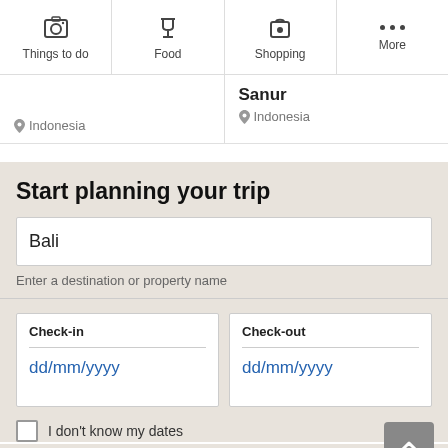Things to do | Food | Shopping | More
Indonesia
Sanur
Indonesia
Start planning your trip
Bali
Enter a destination or property name
Check-in
dd/mm/yyyy
Check-out
dd/mm/yyyy
I don't know my dates
Rooms